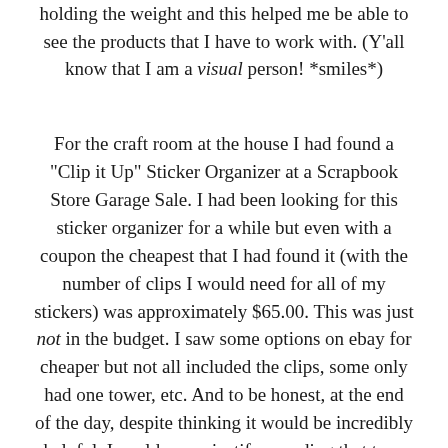holding the weight and this helped me be able to see the products that I have to work with. (Y'all know that I am a visual person! *smiles*)
For the craft room at the house I had found a "Clip it Up" Sticker Organizer at a Scrapbook Store Garage Sale. I had been looking for this sticker organizer for a while but even with a coupon the cheapest that I had found it (with the number of clips I would need for all of my stickers) was approximately $65.00. This was just not in the budget. I saw some options on ebay for cheaper but not all included the clips, some only had one tower, etc. And to be honest, at the end of the day, despite thinking it would be incredibly helpful, I could never justify spending that type of money on one item for my craft area. I was so delighted when (after trying a number of different options - that never worked for over two years) I found one at a scrapbook store